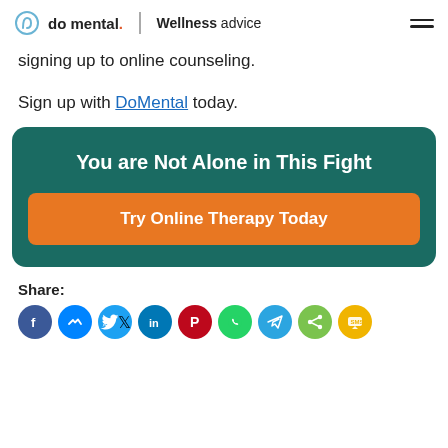do mental. | Wellness advice
signing up to online counseling.
Sign up with DoMental today.
[Figure (infographic): Teal rounded rectangle promotional box with white bold text 'You are Not Alone in This Fight' and an orange button 'Try Online Therapy Today']
Share: [Facebook, Messenger, Twitter, LinkedIn, Pinterest, WhatsApp, Telegram, Share, SMS icons]